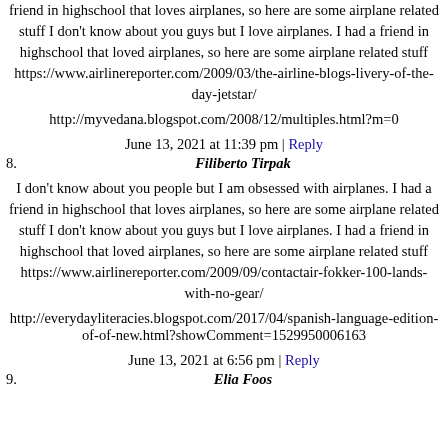friend in highschool that loves airplanes, so here are some airplane related stuff I don't know about you guys but I love airplanes. I had a friend in highschool that loved airplanes, so here are some airplane related stuff https://www.airlinereporter.com/2009/03/the-airline-blogs-livery-of-the-day-jetstar/
http://myvedana.blogspot.com/2008/12/multiples.html?m=0
June 13, 2021 at 11:39 pm | Reply
8. Filiberto Tirpak
I don't know about you people but I am obsessed with airplanes. I had a friend in highschool that loves airplanes, so here are some airplane related stuff I don't know about you guys but I love airplanes. I had a friend in highschool that loved airplanes, so here are some airplane related stuff https://www.airlinereporter.com/2009/09/contactair-fokker-100-lands-with-no-gear/
http://everydayliteracies.blogspot.com/2017/04/spanish-language-edition-of-of-new.html?showComment=1529950006163
June 13, 2021 at 6:56 pm | Reply
9. Elia Foos